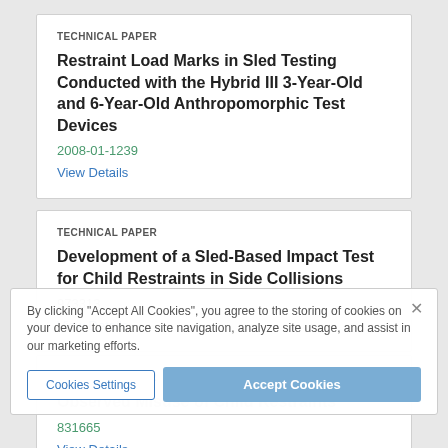TECHNICAL PAPER
Restraint Load Marks in Sled Testing Conducted with the Hybrid III 3-Year-Old and 6-Year-Old Anthropomorphic Test Devices
2008-01-1239
View Details
TECHNICAL PAPER
Development of a Sled-Based Impact Test for Child Restraints in Side Collisions
973313
View Details
By clicking "Accept All Cookies", you agree to the storing of cookies on your device to enhance site navigation, analyze site usage, and assist in our marketing efforts.
Cookies Settings
Accept Cookies
TECHNICAL PAPER
Observed Misuse of Child Restraints
831665
View Details